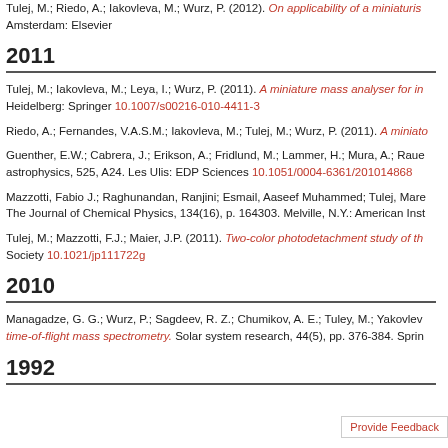Tulej, M.; Riedo, A.; Iakovleva, M.; Wurz, P. (2012). On applicability of a miniaturis... Amsterdam: Elsevier
2011
Tulej, M.; Iakovleva, M.; Leya, I.; Wurz, P. (2011). A miniature mass analyser for in... Heidelberg: Springer 10.1007/s00216-010-4411-3
Riedo, A.; Fernandes, V.A.S.M.; Iakovleva, M.; Tulej, M.; Wurz, P. (2011). A miniato...
Guenther, E.W.; Cabrera, J.; Erikson, A.; Fridlund, M.; Lammer, H.; Mura, A.; Raue... astrophysics, 525, A24. Les Ulis: EDP Sciences 10.1051/0004-6361/201014868
Mazzotti, Fabio J.; Raghunandan, Ranjini; Esmail, Aaseef Muhammed; Tulej, Mare... The Journal of Chemical Physics, 134(16), p. 164303. Melville, N.Y.: American Inst...
Tulej, M.; Mazzotti, F.J.; Maier, J.P. (2011). Two-color photodetachment study of th... Society 10.1021/jp111722g
2010
Managadze, G. G.; Wurz, P.; Sagdeev, R. Z.; Chumikov, A. E.; Tuley, M.; Yakovlev... time-of-flight mass spectrometry. Solar system research, 44(5), pp. 376-384. Sprin...
1992